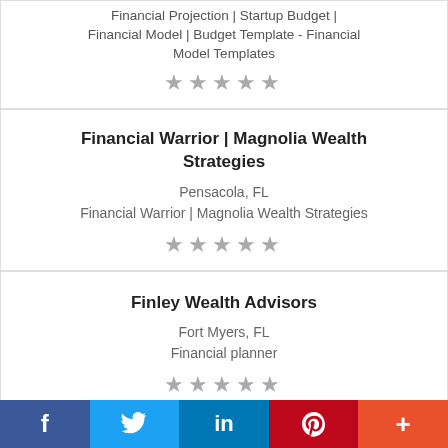Financial Projection | Startup Budget | Financial Model | Budget Template - Financial Model Templates
[Figure (other): 5 grey star rating icons]
Financial Warrior | Magnolia Wealth Strategies
Pensacola, FL
Financial Warrior | Magnolia Wealth Strategies
[Figure (other): 5 grey star rating icons]
Finley Wealth Advisors
Fort Myers, FL
Financial planner
[Figure (other): 5 grey star rating icons]
Finley Wealth Advisors
f  Twitter  in  P  +